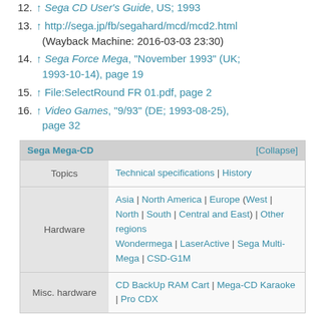12. ↑ Sega CD User's Guide, US; 1993
13. ↑ http://sega.jp/fb/segahard/mcd/mcd2.html (Wayback Machine: 2016-03-03 23:30)
14. ↑ Sega Force Mega, "November 1993" (UK; 1993-10-14), page 19
15. ↑ File:SelectRound FR 01.pdf, page 2
16. ↑ Video Games, "9/93" (DE; 1993-08-25), page 32
| Sega Mega-CD | [Collapse] |
| --- | --- |
| Topics | Technical specifications | History |
| Hardware | Asia | North America | Europe (West | North | South | Central and East) | Other regions
Wondermega | LaserActive | Sega Multi-Mega | CSD-G1M |
| Misc. hardware | CD BackUp RAM Cart | Mega-CD Karaoke | Pro CDX |